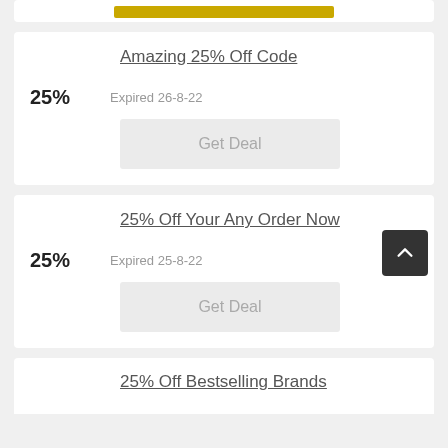[Figure (other): Partial coupon card top with gold button bar visible]
Amazing 25% Off Code
25%
Expired 26-8-22
Get Deal
25% Off Your Any Order Now
25%
Expired 25-8-22
Get Deal
25% Off Bestselling Brands